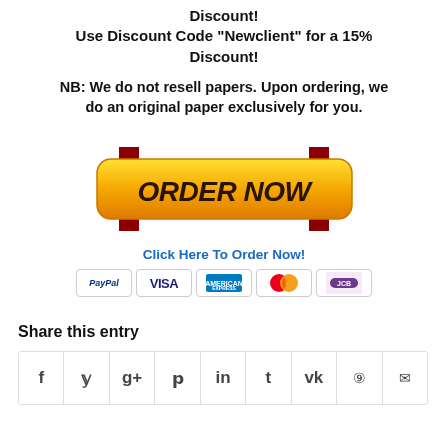Discount!
Use Discount Code "Newclient" for a 15% Discount!
NB: We do not resell papers. Upon ordering, we do an original paper exclusively for you.
[Figure (other): ORDER NOW button graphic with two red downward arrows on either side of a yellow/gold rounded rectangle button with bold italic dark text 'ORDER NOW']
Click Here To Order Now!
[Figure (other): Payment method logos: PayPal, VISA, AMEX, Mastercard, and one more card icon, each in bordered badge]
Share this entry
[Figure (other): Social sharing icons row: Facebook (f), Twitter (bird/y), Google+ (g+), Pinterest (p), LinkedIn (in), Tumblr (t), VK (vk), Reddit, Email (envelope)]